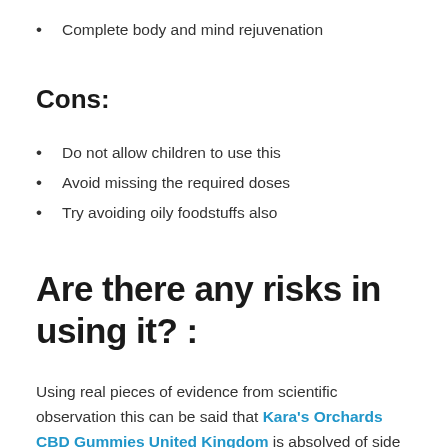Complete body and mind rejuvenation
Cons:
Do not allow children to use this
Avoid missing the required doses
Try avoiding oily foodstuffs also
Are there any risks in using it? :
Using real pieces of evidence from scientific observation this can be said that Kara's Orchards CBD Gummies United Kingdom is absolved of side effects in the true sense. This product gives you the most to be gained out from a CBD supplement and hence even the vulnerable